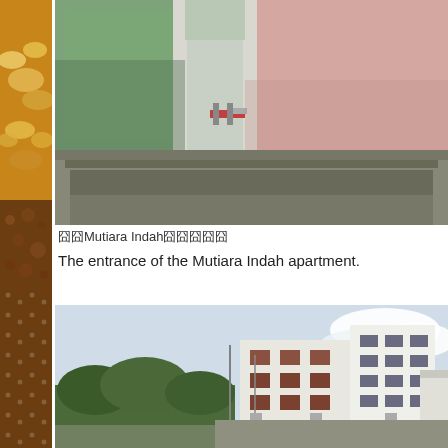[Figure (photo): Close-up photo of a weathered building entrance wall with moss/algae stains on green and pink painted surfaces, with a pipe fitting and concrete ledge]
囧囧Mutiara Indah囧囧囧囧囧

The entrance of the Mutiara Indah apartment.
[Figure (photo): Exterior photo of the Mutiara Indah apartment building — a low-rise white multi-storey block with red window frames and air conditioning units, surrounded by trees, under a partly cloudy sky]